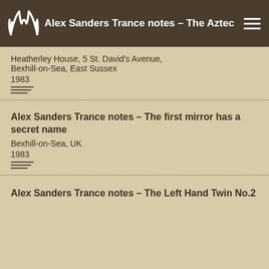Alex Sanders Trance notes – The Aztec
Heatherley House, 5 St. David's Avenue, Bexhill-on-Sea, East Sussex
1983
Alex Sanders Trance notes – The first mirror has a secret name
Bexhill-on-Sea, UK
1983
Alex Sanders Trance notes – The Left Hand Twin No.2